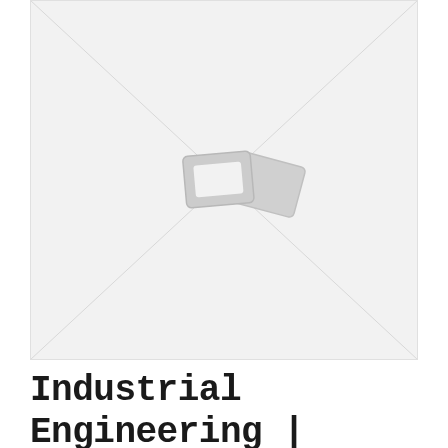[Figure (illustration): Large image placeholder box with diagonal lines crossing from corner to corner and a centered broken-image icon (two overlapping rectangles in gray). Background is light gray.]
Industrial Engineering | Focus